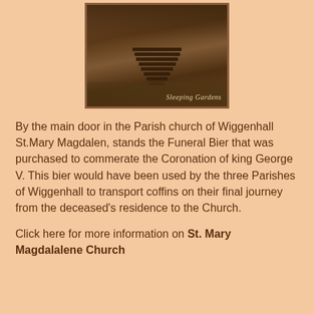[Figure (photo): Sepia-toned photograph of a Funeral Bier with wooden slats, taken in a garden setting, watermarked 'Sleeping Gardens']
By the main door in the Parish church of Wiggenhall St.Mary Magdalen, stands the Funeral Bier that was purchased to commerate the Coronation of king George V. This bier would have been used by the three Parishes of Wiggenhall to transport coffins on their final journey from the deceased's residence to the Church.
Click here for more information on St. Mary Magdalalene Church